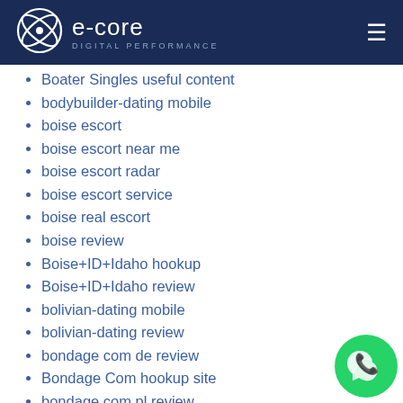e-core DIGITAL PERFORMANCE
Boater Singles useful content
bodybuilder-dating mobile
boise escort
boise escort near me
boise escort radar
boise escort service
boise real escort
boise review
Boise+ID+Idaho hookup
Boise+ID+Idaho review
bolivian-dating mobile
bolivian-dating review
bondage com de review
Bondage Com hookup site
bondage com pl review
bondage com reviews
bondage com_NL dating
Bondage dating
Bondage Pal useful content
Bondage review
bondage-com-recenze Reddit